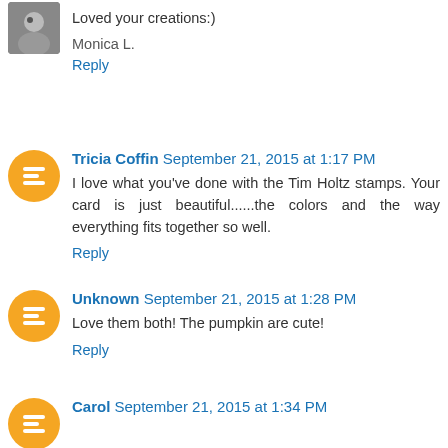Loved your creations:)
Monica L.
Reply
Tricia Coffin September 21, 2015 at 1:17 PM
I love what you've done with the Tim Holtz stamps. Your card is just beautiful......the colors and the way everything fits together so well.
Reply
Unknown September 21, 2015 at 1:28 PM
Love them both! The pumpkin are cute!
Reply
Carol September 21, 2015 at 1:34 PM